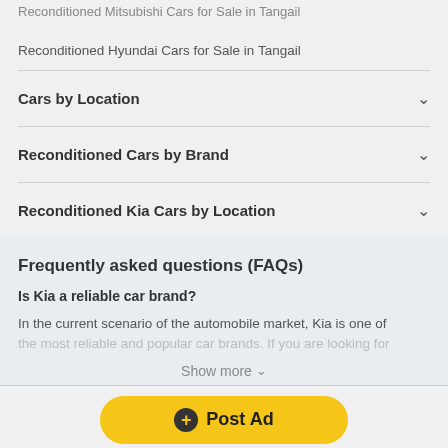Reconditioned Mitsubishi Cars for Sale in Tangail
Reconditioned Hyundai Cars for Sale in Tangail
Cars by Location
Reconditioned Cars by Brand
Reconditioned Kia Cars by Location
Frequently asked questions (FAQs)
Is Kia a reliable car brand?
In the current scenario of the automobile market, Kia is one of the most reliable and popular car brands. If you are looking for
Show more
Post Ad
Back to top